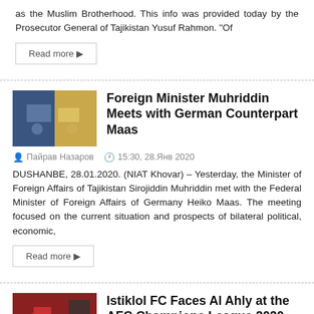as the Muslim Brotherhood. This info was provided today by the Prosecutor General of Tajikistan Yusuf Rahmon. "Of
Read more ▶
Foreign Minister Muhriddin Meets with German Counterpart Maas
Пайрав Назаров   15:30, 28.Янв 2020
DUSHANBE, 28.01.2020. (NIAT Khovar) – Yesterday, the Minister of Foreign Affairs of Tajikistan Sirojiddin Muhriddin met with the Federal Minister of Foreign Affairs of Germany Heiko Maas. The meeting focused on the current situation and prospects of bilateral political, economic,
Read more ▶
Istiklol FC Faces Al Ahly at the AFC Champions League 2020 Playoffs
Пайрав Назаров   11:28, 28.Янв 2020